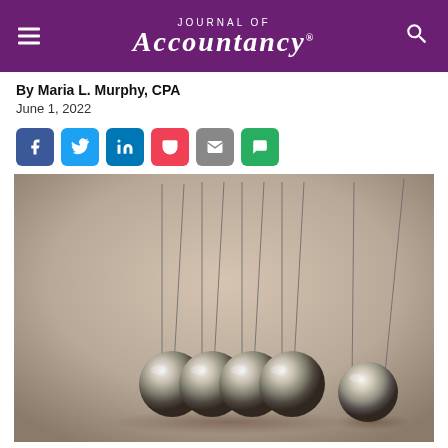Journal of Accountancy
By Maria L. Murphy, CPA
June 1, 2022
[Figure (other): Social media share buttons: Facebook (blue), Twitter (light blue), LinkedIn (blue), Pocket (red), Email (grey), SMS (green)]
[Figure (photo): Newton's cradle with five metallic balls hanging, four grouped together on the left and one swung out to the right, against a warm beige/taupe background. Physics demonstration of conservation of momentum.]
IMAGE BY VIRUSOWY/ISTOCK